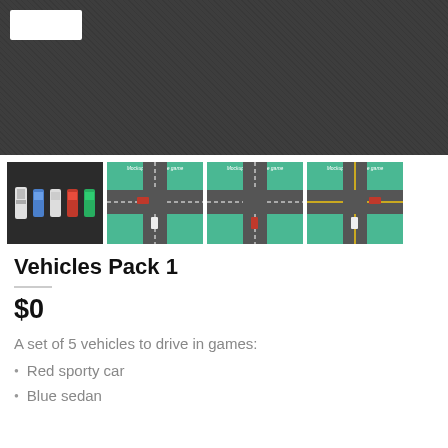[Figure (screenshot): Dark gray textured background with a white rectangle in the top-left corner, serving as the main product image for Vehicles Pack 1]
[Figure (screenshot): Four thumbnail images: first shows 5 top-down vehicles (white, blue, white, red, green) on dark background; next three show green intersection/road mockups with small cars]
Vehicles Pack 1
$0
A set of 5 vehicles to drive in games:
Red sporty car
Blue sedan